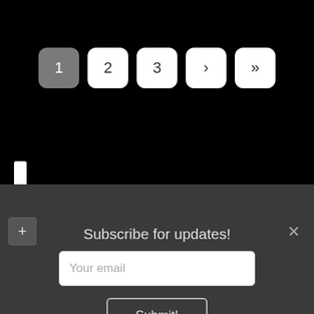[Figure (screenshot): Pagination control with buttons labeled 1 (active/dark), 2, 3, › (next), » (last) on black background]
[Figure (screenshot): White vertical scrollbar on left side of black area]
Subscribe for updates!
[Figure (screenshot): Email input field with placeholder 'Your email' and Submit button in dark gray panel with close X button]